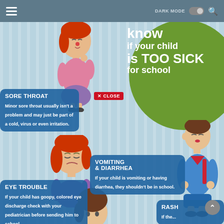DARK MODE [toggle] [search]
know if your child is TOO SICK for school
[Figure (illustration): Cartoon girl with red hair holding her throat, wearing pink top and purple skirt]
[Figure (illustration): Cartoon girl with red hair looking sad/nauseous, wearing purple top]
[Figure (illustration): Cartoon boy with brown hair holding stomach, wearing blue jacket and shorts with backpack]
[Figure (illustration): Cartoon child with brown hair, partially visible at bottom]
SORE THROAT
Minor sore throat usually isn't a problem and may just be part of a cold, virus or even irritation.
VOMITING & DIARRHEA
If your child is vomiting or having diarrhea, they shouldn't be in school.
EYE TROUBLE
If your child has goopy, colored eye discharge check with your pediatrician before sending him to school.
RASH
If the...